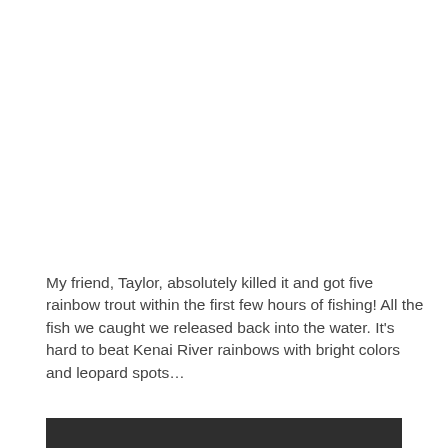My friend, Taylor, absolutely killed it and got five rainbow trout within the first few hours of fishing! All the fish we caught we released back into the water. It's hard to beat Kenai River rainbows with bright colors and leopard spots…
[Figure (photo): Bottom portion of a dark photograph, mostly dark/black background visible at the bottom of the page.]